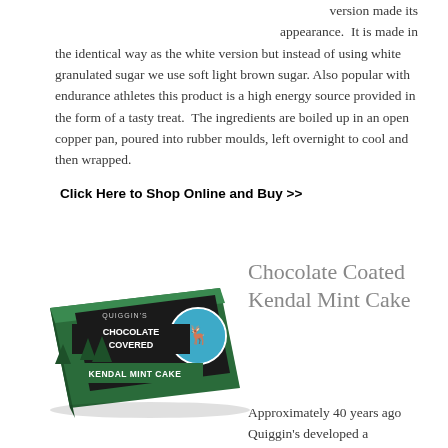version made its appearance.  It is made in the identical way as the white version but instead of using white granulated sugar we use soft light brown sugar. Also popular with endurance athletes this product is a high energy source provided in the form of a tasty treat.  The ingredients are boiled up in an open copper pan, poured into rubber moulds, left overnight to cool and then wrapped.
Click Here to Shop Online and Buy >>
[Figure (photo): Box of Quiggin's Chocolate Covered Kendal Mint Cake product]
Chocolate Coated Kendal Mint Cake
Approximately 40 years ago Quiggin's developed a